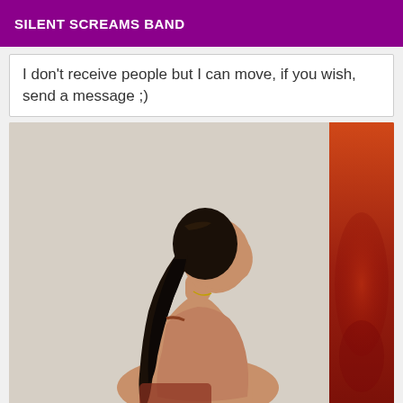SILENT SCREAMS BAND
I don't receive people but I can move, if you wish, send a message ;)
[Figure (photo): A woman with dark hair in a ponytail, viewed from behind/side, appears to be unclothed, looking upward, with a cream-colored wall and orange/red decorative element to the right.]